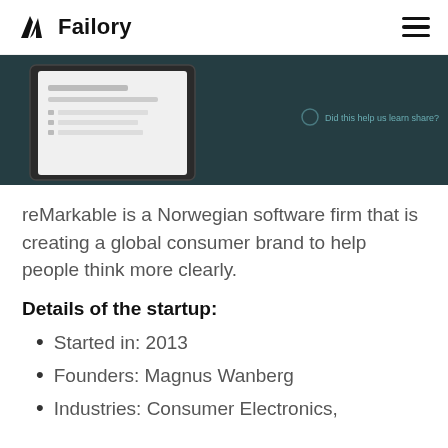Failory
[Figure (screenshot): Product screenshot of reMarkable tablet device showing a document interface on a dark teal background]
reMarkable is a Norwegian software firm that is creating a global consumer brand to help people think more clearly.
Details of the startup:
Started in: 2013
Founders: Magnus Wanberg
Industries: Consumer Electronics,